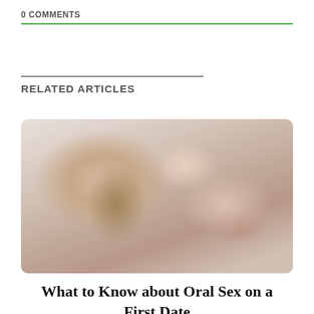0 COMMENTS
RELATED ARTICLES
[Figure (photo): Woman lying down with eyes closed, face tilted, wearing beige top, dark nail polish, light background.]
What to Know about Oral Sex on a First Date